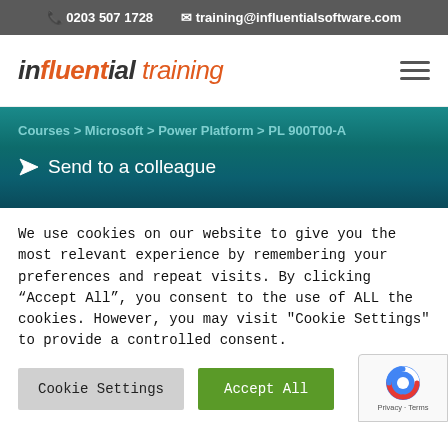📞 0203 507 1728   ✉ training@influentialsoftware.com
[Figure (logo): Influential Training logo - 'influential' in dark italic bold and 'training' in orange italic]
Courses > Microsoft > Power Platform > PL 900T00-A
Send to a colleague
We use cookies on our website to give you the most relevant experience by remembering your preferences and repeat visits. By clicking "Accept All", you consent to the use of ALL the cookies. However, you may visit "Cookie Settings" to provide a controlled consent.